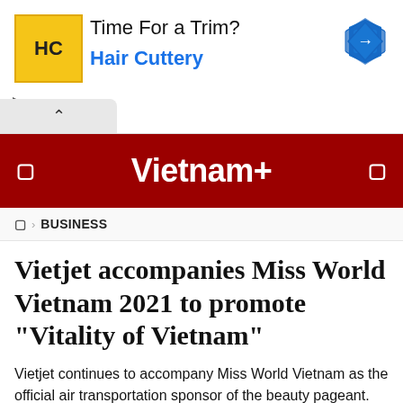[Figure (screenshot): Hair Cuttery advertisement banner with yellow HC logo, 'Time For a Trim?' text, and blue navigation arrow icon]
Vietnam+
🏠 › BUSINESS
Vietjet accompanies Miss World Vietnam 2021 to promote "Vitality of Vietnam"
Vietjet continues to accompany Miss World Vietnam as the official air transportation sponsor of the beauty pageant.
VNA - Friday, April 02, 2021 16:09